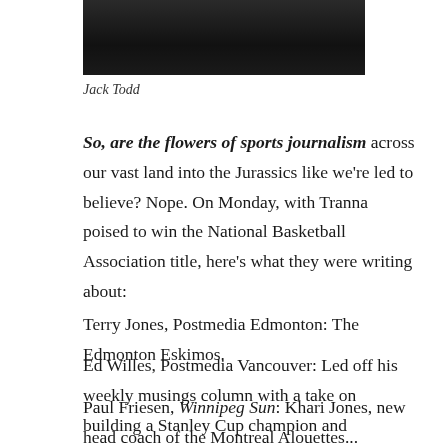[Figure (photo): Partial photo of a person, dark background, only bottom portion visible (neck/shoulders area, dark clothing)]
Jack Todd
So, are the flowers of sports journalism across our vast land into the Jurassics like we're led to believe? Nope. On Monday, with Tranna poised to win the National Basketball Association title, here's what they were writing about:
Terry Jones, Postmedia Edmonton: The Edmonton Eskimos.
Ed Willes, Postmedia Vancouver: Led off his weekly musings column with a take on building a Stanley Cup champion and mentioned the Jurassics at the tail end.
Paul Friesen, Winnipeg Sun: Khari Jones, new head coach of the Montreal Alouettes...